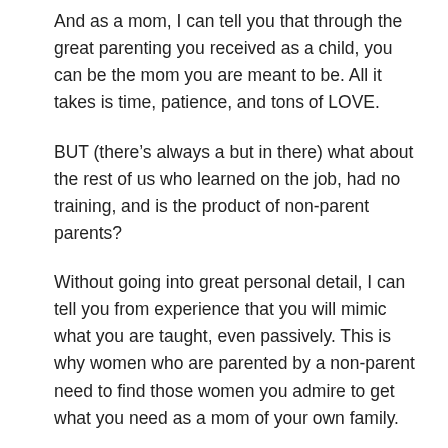And as a mom, I can tell you that through the great parenting you received as a child, you can be the mom you are meant to be. All it takes is time, patience, and tons of LOVE.
BUT (there’s always a but in there) what about the rest of us who learned on the job, had no training, and is the product of non-parent parents?
Without going into great personal detail, I can tell you from experience that you will mimic what you are taught, even passively. This is why women who are parented by a non-parent need to find those women you admire to get what you need as a mom of your own family.